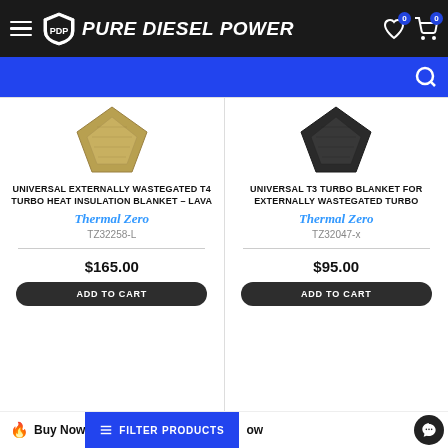Pure Diesel Power
Search bar
UNIVERSAL EXTERNALLY WASTEGATED T4 TURBO HEAT INSULATION BLANKET – LAVA | Thermal Zero | TZ32258-L | $165.00 | ADD TO CART
UNIVERSAL T3 TURBO BLANKET FOR EXTERNALLY WASTEGATED TURBO | Thermal Zero | TZ32047-x | $95.00 | ADD TO CART
Buy Now | FILTER PRODUCTS | Now